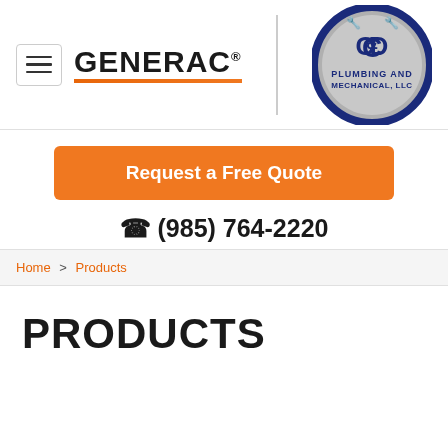[Figure (logo): Generac brand logo with hamburger menu icon and orange underline bar]
[Figure (logo): C&D Plumbing and Mechanical LLC circular logo in navy blue and gray]
Request a Free Quote
☎ (985) 764-2220
Home > Products
PRODUCTS